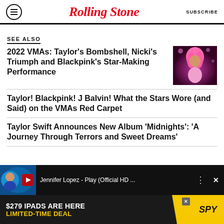Rolling Stone | SUBSCRIBE
SEE ALSO
2022 VMAs: Taylor's Bombshell, Nicki's Triumph and Blackpink's Star-Making Performance
[Figure (photo): Photo of pink-haired female performer on stage in pink outfit]
Taylor! Blackpink! J Balvin! What the Stars Wore (and Said) on the VMAs Red Carpet
Taylor Swift Announces New Album 'Midnights': 'A Journey Through Terrors and Sweet Dreams'
[Figure (screenshot): Video thumbnail showing Jennifer Lopez - Play (Official HD ...) with video player controls]
[Figure (infographic): Advertisement banner: $279 IPADS ARE HERE LIMITED-TIME DEAL with SPY logo]